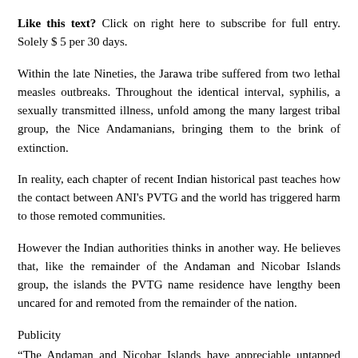Like this text? Click on right here to subscribe for full entry. Solely $ 5 per 30 days.
Within the late Nineties, the Jarawa tribe suffered from two lethal measles outbreaks. Throughout the identical interval, syphilis, a sexually transmitted illness, unfold among the many largest tribal group, the Nice Andamanians, bringing them to the brink of extinction.
In reality, each chapter of recent Indian historical past teaches how the contact between ANI’s PVTG and the world has triggered harm to those remoted communities.
However the Indian authorities thinks in another way. He believes that, like the remainder of the Andaman and Nicobar Islands group, the islands the PVTG name residence have lengthy been uncared for and remoted from the remainder of the nation.
Publicity
“The Andaman and Nicobar Islands have appreciable untapped financial potential and a strategic benefit for India, however have been uncared for